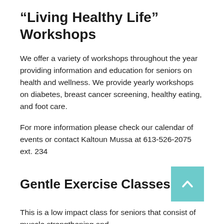“Living Healthy Life” Workshops
We offer a variety of workshops throughout the year providing information and education for seniors on health and wellness. We provide yearly workshops on diabetes, breast cancer screening, healthy eating, and foot care.
For more information please check our calendar of events or contact Kaltoun Mussa at 613-526-2075 ext. 234
Gentle Exercise Classes
This is a low impact class for seniors that consist of muscle strengthening and